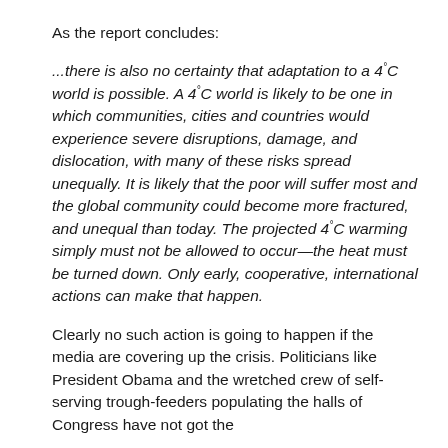As the report concludes:
...there is also no certainty that adaptation to a 4°C world is possible. A 4°C world is likely to be one in which communities, cities and countries would experience severe disruptions, damage, and dislocation, with many of these risks spread unequally. It is likely that the poor will suffer most and the global community could become more fractured, and unequal than today. The projected 4°C warming simply must not be allowed to occur—the heat must be turned down. Only early, cooperative, international actions can make that happen.
Clearly no such action is going to happen if the media are covering up the crisis. Politicians like President Obama and the wretched crew of self-serving trough-feeders populating the halls of Congress have not got the